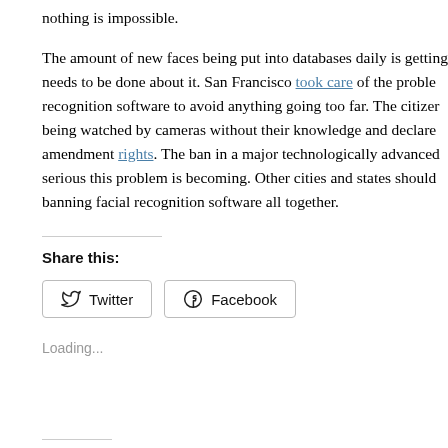nothing is impossible.
The amount of new faces being put into databases daily is getting needs to be done about it. San Francisco took care of the proble recognition software to avoid anything going too far. The citizer being watched by cameras without their knowledge and declare amendment rights. The ban in a major technologically advanced serious this problem is becoming. Other cities and states should banning facial recognition software all together.
Share this:
Twitter Facebook
Loading...